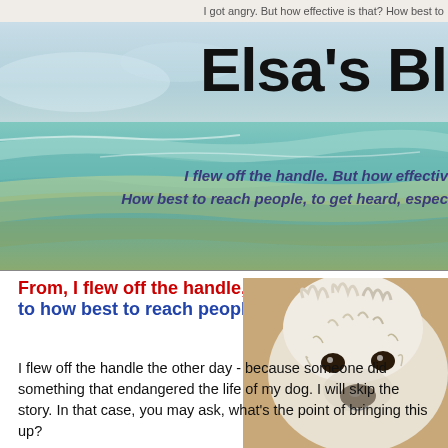I got angry. But how effective is that? How best to
[Figure (illustration): Blog banner with watercolor ocean/beach painting background, blog title 'Elsa's Blo' visible, and subtitle text 'I flew off the handle. But how effective... How best to reach people, to get heard, espec...']
From, I flew off the handle, to how best to reach people?
[Figure (photo): Close-up photo of a fluffy white/light-colored dog face]
I flew off the handle the other day - because someone did something that endangered the life of my dog. I will skip the story. In that case, you may ask, what's the point of bringing this up?
Sometimes something pushes us too far. And also sometimes we're closer to our personal edge.
And yet a blog I particularly like is CitizenWarrior